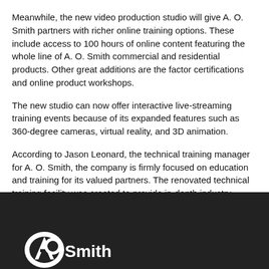Meanwhile, the new video production studio will give A. O. Smith partners with richer online training options. These include access to 100 hours of online content featuring the whole line of A. O. Smith commercial and residential products. Other great additions are the factor certifications and online product workshops.
The new studio can now offer interactive live-streaming training events because of its expanded features such as 360-degree cameras, virtual reality, and 3D animation.
According to Jason Leonard, the technical training manager for A. O. Smith, the company is firmly focused on education and training for its valued partners. The renovated technical training facility was created to provide in-depth industry education along with world-class solutions.
Last year, around 80,000 industry professionals took part in the training provided by A. O. Smith University.
[Figure (logo): A. O. Smith logo in white on dark background]